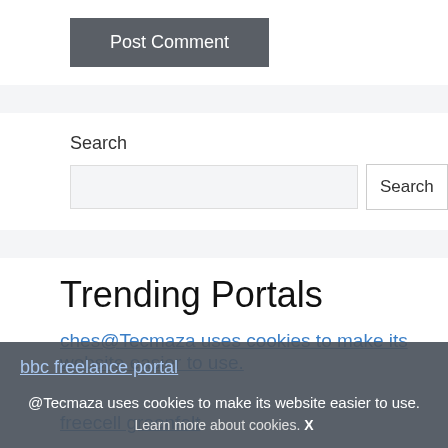[Figure (other): Post Comment button — dark gray rectangle with white text]
Search
[Figure (other): Search input box with Search button]
Trending Portals
chess.com or similar (partially obscured by cookie bar)
bbc freelance portal
freecell greenfelt
@Tecmaza uses cookies to make its website easier to use. Learn more about cookies. X